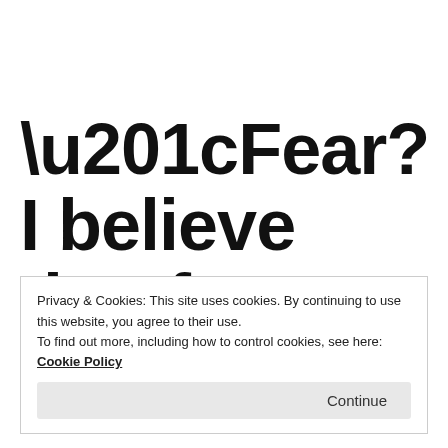“Fear? I believe that fear and lack
Privacy & Cookies: This site uses cookies. By continuing to use this website, you agree to their use.
To find out more, including how to control cookies, see here: Cookie Policy
Continue